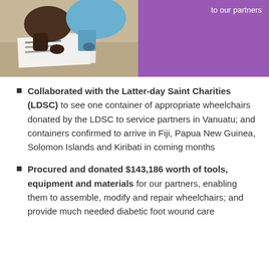[Figure (photo): Photo of people working on papers at a table, partially visible at top left. Next to it is a purple/magenta block with text 'to our partners'.]
Collaborated with the Latter-day Saint Charities (LDSC) to see one container of appropriate wheelchairs donated by the LDSC to service partners in Vanuatu; and containers confirmed to arrive in Fiji, Papua New Guinea, Solomon Islands and Kiribati in coming months
Procured and donated $143,186 worth of tools, equipment and materials for our partners, enabling them to assemble, modify and repair wheelchairs; and provide much needed diabetic foot wound care